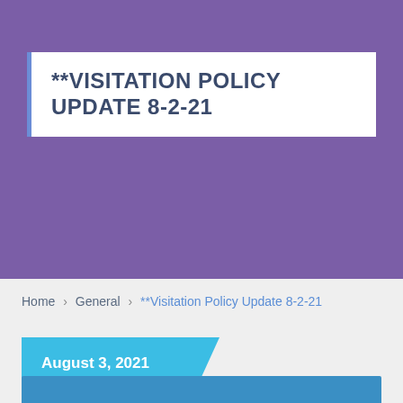**VISITATION POLICY UPDATE 8-2-21
Home > General > **Visitation Policy Update 8-2-21
August 3, 2021